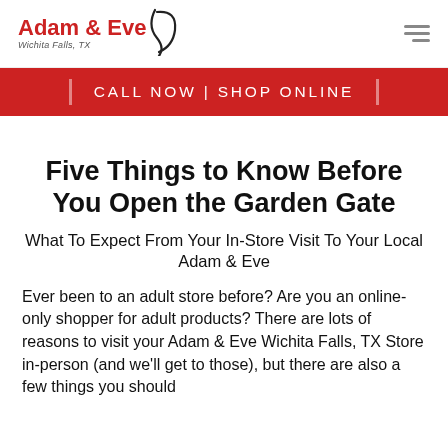[Figure (logo): Adam & Eve Wichita Falls, TX logo with stylized text and curl graphic]
CALL NOW | SHOP ONLINE
Five Things to Know Before You Open the Garden Gate
What To Expect From Your In-Store Visit To Your Local Adam & Eve
Ever been to an adult store before? Are you an online-only shopper for adult products? There are lots of reasons to visit your Adam & Eve Wichita Falls, TX Store in-person (and we'll get to those), but there are also a few things you should